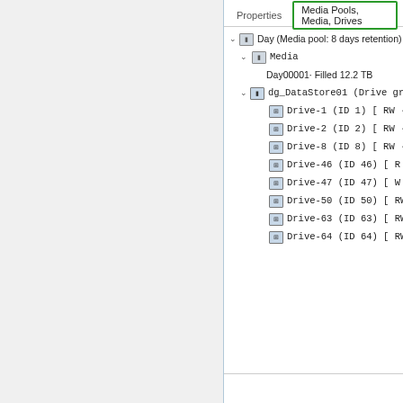[Figure (screenshot): Software UI screenshot showing a media management tree view with tabs 'Properties' and 'Media Pools, Media, Drives' (active, green border). Tree shows: Day (Media pool: 8 days retention) - NFS, Media, Day00001 Filled 12.2 TB, dg_DataStore01 (Drive group: 8 Dr...), Drive-1 (ID 1) [RW · 5 Chan..., Drive-2 (ID 2) [RW · 1 Chan..., Drive-8 (ID 8) [RW · 5 Chan..., Drive-46 (ID 46) [R · 5 Chan..., Drive-47 (ID 47) [W · 5 Cha..., Drive-50 (ID 50) [RW · 10 Ch..., Drive-63 (ID 63) [RW · 5 Ch..., Drive-64 (ID 64) [RW · 5 Ch...]